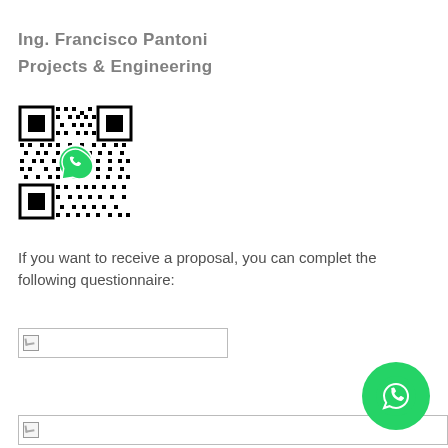Ing. Francisco Pantoni
Projects & Engineering
[Figure (other): QR code with WhatsApp logo in the center, linking to a contact or service]
If you want to receive a proposal, you can complet the following questionnaire:
[Figure (other): Broken image placeholder (first questionnaire link image)]
[Figure (other): Broken image placeholder (second questionnaire link image)]
[Figure (other): WhatsApp floating action button (green circle with WhatsApp icon)]